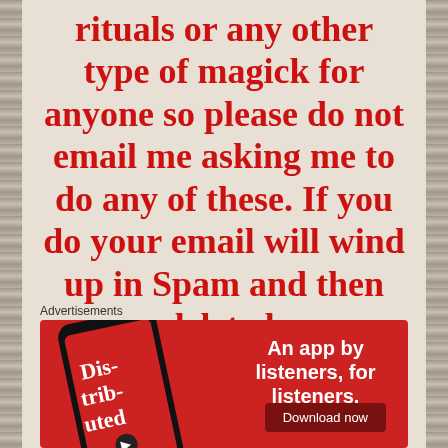rituals or any other type of magick for anyone so please do not email me asking me to do any of these. If you do your email will wind up in Spam and then deleted.
Advertisements
[Figure (infographic): Advertisement showing a smartphone app. Text reads: 'An app by listeners, for listeners.' with a 'Download now' button. The phone displays 'Distributed' on its screen.]